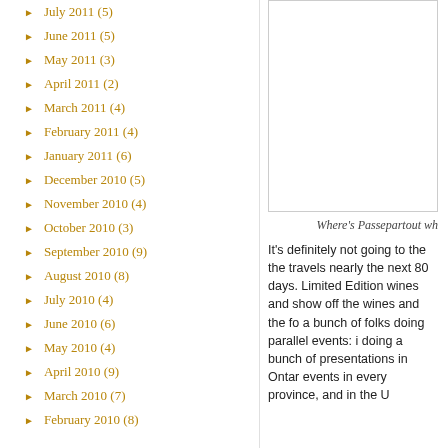July 2011 (5)
June 2011 (5)
May 2011 (3)
April 2011 (2)
March 2011 (4)
February 2011 (4)
January 2011 (6)
December 2010 (5)
November 2010 (4)
October 2010 (3)
September 2010 (9)
August 2010 (8)
July 2010 (4)
June 2010 (6)
May 2010 (4)
April 2010 (9)
March 2010 (7)
February 2010 (8)
[Figure (other): White/blank sidebar box]
Where's Passepartout wh
It's definitely not going to the the travels nearly the next 80 days. Limited Edition wines and show off the wines and the fo a bunch of folks doing parallel events: i doing a bunch of presentations in Ontar events in every province, and in the U